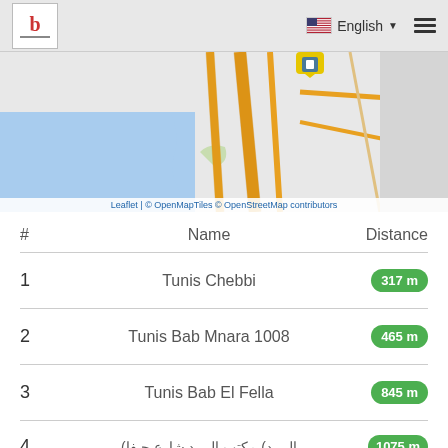b | English
[Figure (map): OpenStreetMap showing Tunis area with roads, water body on left (blue), road network in orange/yellow, and a yellow map pin marker. Attribution: Leaflet | © OpenMapTiles © OpenStreetMap contributors]
| # | Name | Distance |
| --- | --- | --- |
| 1 | Tunis Chebbi | 317 m |
| 2 | Tunis Bab Mnara 1008 | 465 m |
| 3 | Tunis Bab El Fella | 845 m |
| 4 | (Arabic text) | 1075 m |